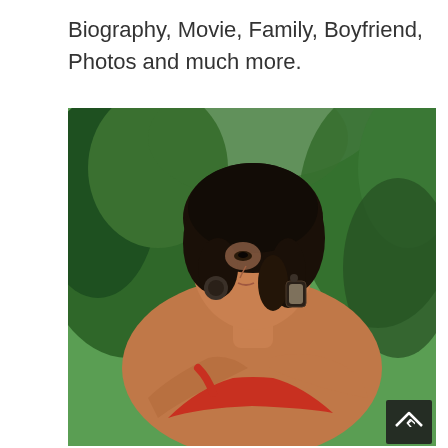Biography, Movie, Family, Boyfriend, Photos and much more.
[Figure (photo): Portrait photo of a young woman with curly dark hair, wearing statement earrings and a red top, posing against a green leafy background in natural outdoor light.]